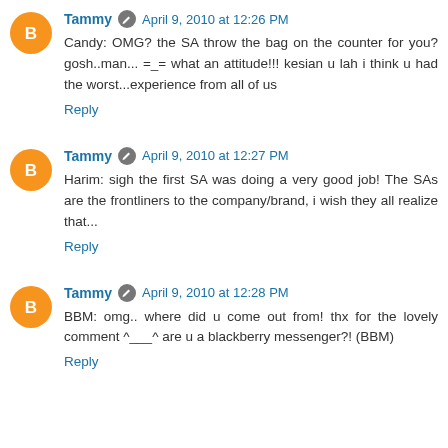Tammy · April 9, 2010 at 12:26 PM
Candy: OMG? the SA throw the bag on the counter for you? gosh..man... =_= what an attitude!!! kesian u lah i think u had the worst...experience from all of us
Reply
Tammy · April 9, 2010 at 12:27 PM
Harim: sigh the first SA was doing a very good job! The SAs are the frontliners to the company/brand, i wish they all realize that...
Reply
Tammy · April 9, 2010 at 12:28 PM
BBM: omg.. where did u come out from! thx for the lovely comment ^___^ are u a blackberry messenger?! (BBM)
Reply